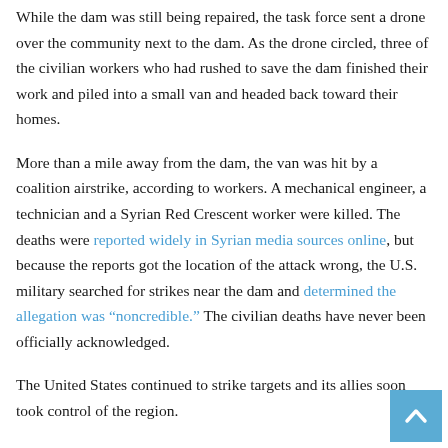While the dam was still being repaired, the task force sent a drone over the community next to the dam. As the drone circled, three of the civilian workers who had rushed to save the dam finished their work and piled into a small van and headed back toward their homes.
More than a mile away from the dam, the van was hit by a coalition airstrike, according to workers. A mechanical engineer, a technician and a Syrian Red Crescent worker were killed. The deaths were reported widely in Syrian media sources online, but because the reports got the location of the attack wrong, the U.S. military searched for strikes near the dam and determined the allegation was "noncredible." The civilian deaths have never been officially acknowledged.
The United States continued to strike targets and its allies soon took control of the region.